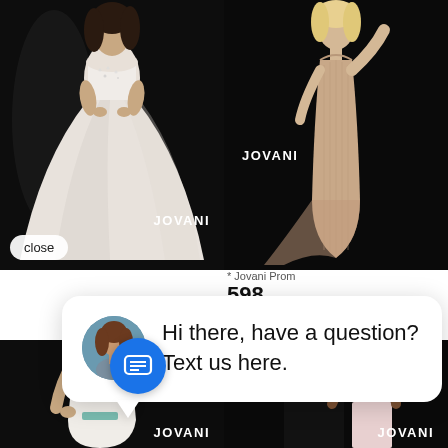[Figure (photo): Model wearing a white ball gown with beaded bodice on dark background, JOVANI brand label, with close button overlay]
[Figure (photo): Model wearing a nude/beige fitted ribbed gown on dark background, JOVANI brand label]
Jovani Prom
598
[Figure (screenshot): Chat popup widget with avatar of woman and text: Hi there, have a question? Text us here.]
[Figure (photo): Model wearing a white deep-V halter gown on dark background, JOVANI brand label]
[Figure (photo): Model wearing a light pink two-piece crop top and skirt set on dark background, JOVANI brand label]